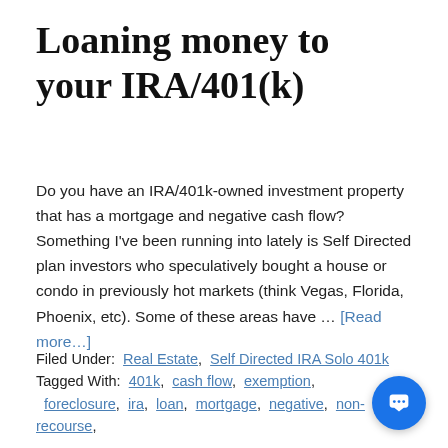Loaning money to your IRA/401(k)
Do you have an IRA/401k-owned investment property that has a mortgage and negative cash flow? Something I've been running into lately is Self Directed plan investors who speculatively bought a house or condo in previously hot markets (think Vegas, Florida, Phoenix, etc). Some of these areas have … [Read more...]
Filed Under: Real Estate, Self Directed IRA Solo 401k
Tagged With: 401k, cash flow, exemption, foreclosure, ira, loan, mortgage, negative, non-recourse, nonrecourse, plan, prohibited transaction, property, Real Estate, self direct